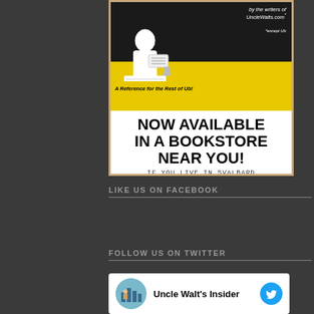[Figure (illustration): Book advertisement: 'by the writers of UncleWalts.com* (*except Ub) — A Reference for the Rest of Ub!' with NOW AVAILABLE IN A BOOKSTORE NEAR YOU! IF YOU LIVE IN SVALBARD text below a cartoon illustration of a person reading.]
LIKE US ON FACEBOOK
FOLLOW US ON TWITTER
[Figure (screenshot): Twitter widget showing Uncle Walt's Insider account with avatar and Twitter bird logo]